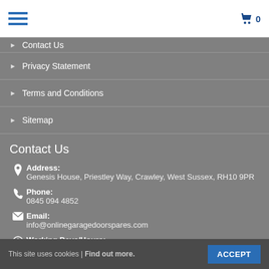Menu | Cart 0
Contact Us
Privacy Statement
Terms and Conditions
Sitemap
Contact Us
Address: Genesis House, Priestley Way, Crawley, West Sussex, RH10 9PR
Phone: 0845 094 4852
Email: info@onlinegaragedoorspares.com
Working Days/Hours:
This site uses cookies | Find out more. ACCEPT